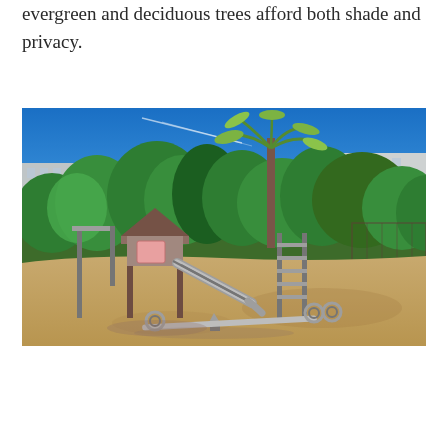evergreen and deciduous trees afford both shade and privacy.
[Figure (photo): Outdoor playground in a park with a slide structure, seesaw, and climbing frame on sandy ground, surrounded by lush evergreen and deciduous trees with apartment buildings visible in the background under a blue sky.]